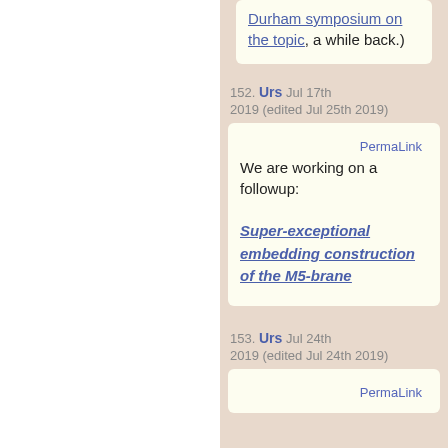Durham symposium on the topic, a while back.)
152. Urs  Jul 17th 2019 (edited Jul 25th 2019)
PermaLink
We are working on a followup:
Super-exceptional embedding construction of the M5-brane
153. Urs  Jul 24th 2019 (edited Jul 24th 2019)
PermaLink